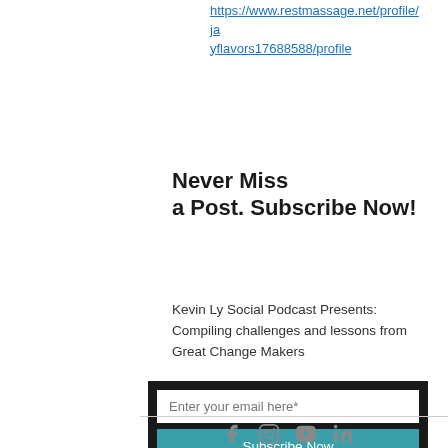https://www.restmassage.net/profile/jayflavors17688588/profile
Never Miss a Post. Subscribe Now!
Kevin Ly Social Podcast Presents: Compiling challenges and lessons from Great Change Makers
[Figure (other): Email subscription form with text input 'Enter your email here*' and a teal 'Subscribe Now' button on dark background]
[Figure (other): Social media icons: Facebook, Instagram, YouTube, LinkedIn in gray]